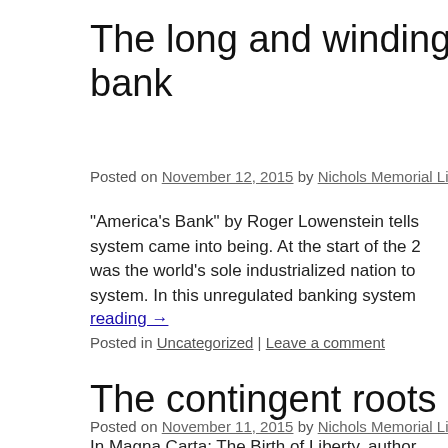The long and winding road to the bank
Posted on November 12, 2015 by Nichols Memorial Library
“America’s Bank”  by Roger Lowenstein tells ... Continue reading →
Posted in Uncategorized | Leave a comment
The contingent roots of ano...
Posted on November 11, 2015 by Nichols Memorial Library
In Magna Carta: The Birth of Liberty, author...